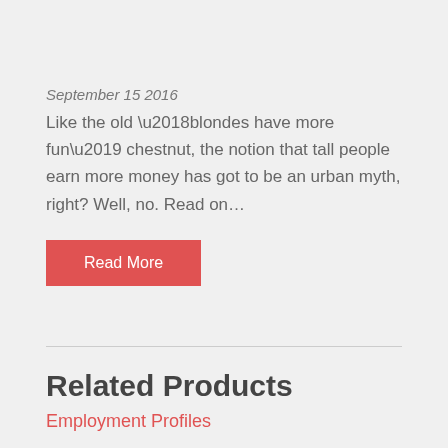September 15 2016
Like the old ‘blondes have more fun’ chestnut, the notion that tall people earn more money has got to be an urban myth, right? Well, no. Read on…
Read More
Related Products
Employment Profiles